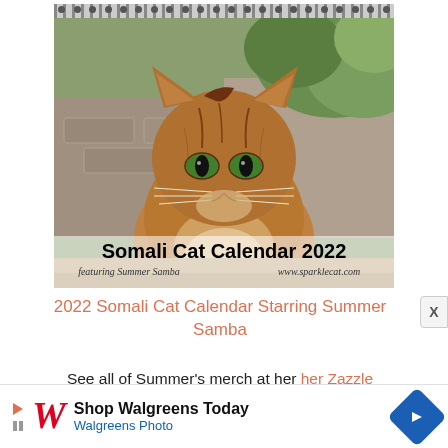[Figure (photo): A 2022 Somali Cat Calendar cover featuring a close-up photo of a fluffy brown Somali cat with striking green eyes, sitting against a stone background with greenery. The calendar has a spiral binding at the top. Text overlay reads 'Somali Cat Calendar 2022' in bold, with italic text 'featuring Summer Samba' and 'www.sparklecat.com'.]
2022 Somali Cat Calendar Starring Summer Samba
See all of Summer's merch at her her Zazzle Designercat Shop
[Figure (screenshot): Advertisement banner for Walgreens. Shows the Walgreens script logo W in red, with text 'Shop Walgreens Today' in bold black and 'Walgreens Photo' in blue. A blue diamond-shaped arrow icon appears on the right. Play/stop icons on the left side.]